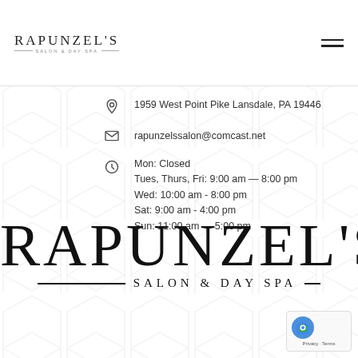RAPUNZEL'S SALON & DAY SPA
1959 West Point Pike Lansdale, PA 19446
rapunzelssalon@comcast.net
Mon: Closed
Tues, Thurs, Fri: 9:00 am — 8:00 pm
Wed: 10:00 am - 8:00 pm
Sat: 9:00 am - 4:00 pm
Sun: 11:00 am — 5:00 pm
[Figure (logo): Large RAPUNZEL'S SALON & DAY SPA logo with decorative rules]
[Figure (other): Google reCAPTCHA badge with Privacy and Terms links]